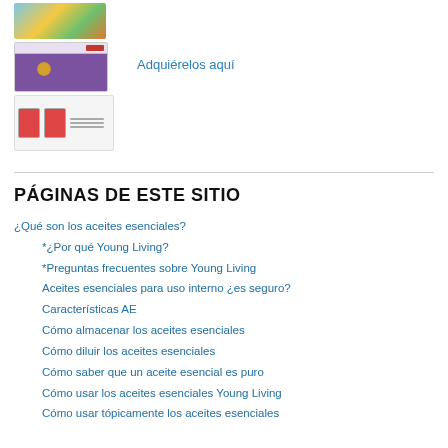[Figure (photo): Small colorful image of items (yellow, blue, green objects)]
[Figure (screenshot): Screenshot of a website with purple background and orange circle element]
[Figure (screenshot): Two red document/book icons with text lines]
Adquiérelos aquí
PÁGINAS DE ESTE SITIO
¿Qué son los aceites esenciales?
*¿Por qué Young Living?
*Preguntas frecuentes sobre Young Living
Aceites esenciales para uso interno ¿es seguro?
Características AE
Cómo almacenar los aceites esenciales
Cómo diluir los aceites esenciales
Cómo saber que un aceite esencial es puro
Cómo usar los aceites esenciales Young Living
Cómo usar tópicamente los aceites esenciales